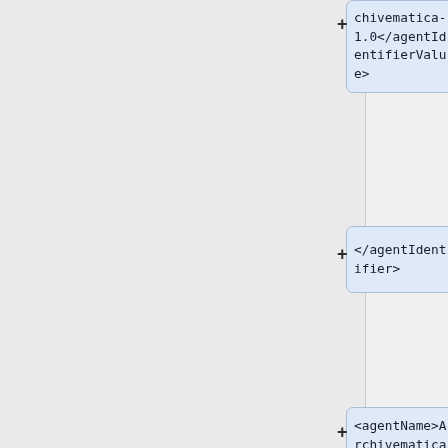[Figure (flowchart): XML tree diagram showing nested XML elements for PREMIS metadata: agentIdentifierValue (Archivematica-1.0), /agentIdentifier, agentName (Archivematica), agentType (software), /agent, and a partial node at bottom. Each node shown as a blue rounded box connected with + expand icons.]
chivematica-1.0</agentIdentifierValue>
</agentIdentifier>
<agentName>Archivematica</agentName>
<agentType>software</agentType>
</agent>